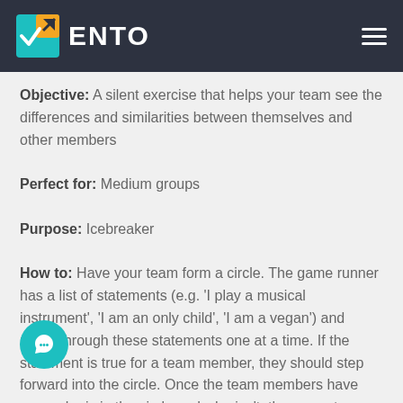ENTO
Objective: A silent exercise that helps your team see the differences and similarities between themselves and other members
Perfect for: Medium groups
Purpose: Icebreaker
How to: Have your team form a circle. The game runner has a list of statements (e.g. 'I play a musical instrument', 'I am an only child', 'I am a vegan') and reads through these statements one at a time. If the statement is true for a team member, they should step forward into the circle. Once the team members have seen who is in the circle and who isn't, they can step back, and wait for the next statement.